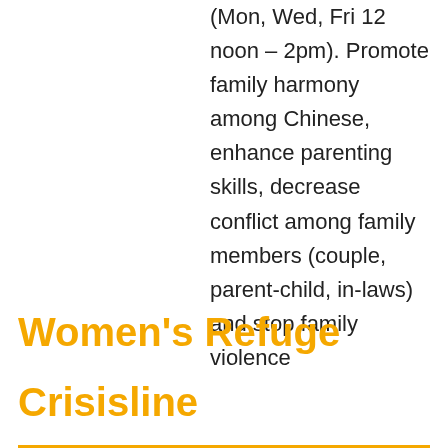(Mon, Wed, Fri 12 noon – 2pm). Promote family harmony among Chinese, enhance parenting skills, decrease conflict among family members (couple, parent-child, in-laws) and stop family violence
Women's Refuge Crisisline